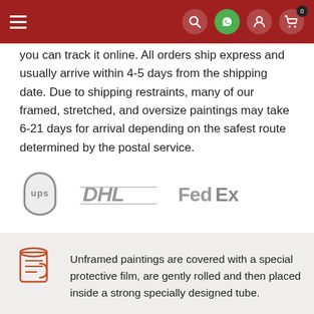Navigation bar with hamburger menu, search, WhatsApp, user, and cart icons
you can track it online. All orders ship express and usually arrive within 4-5 days from the shipping date. Due to shipping restraints, many of our framed, stretched, and oversize paintings may take 6-21 days for arrival depending on the safest route determined by the postal service.
[Figure (logo): UPS, DHL, and FedEx carrier logos shown in gray]
Unframed paintings are covered with a special protective film, are gently rolled and then placed inside a strong specially designed tube.
Stretched, Gallery Wrapped and Framed paintings are covered with protective bubble wrap, separated by foam board and then